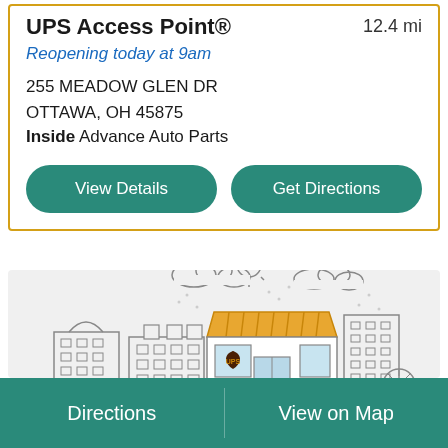UPS Access Point®
12.4 mi
Reopening today at 9am
255 MEADOW GLEN DR
OTTAWA, OH 45875
Inside Advance Auto Parts
View Details
Get Directions
[Figure (illustration): UPS Access Point storefront illustration showing a city street with various buildings, a prominent UPS store with yellow awning and UPS shield logo, surrounded by other buildings, clouds, and a sun]
Directions
View on Map